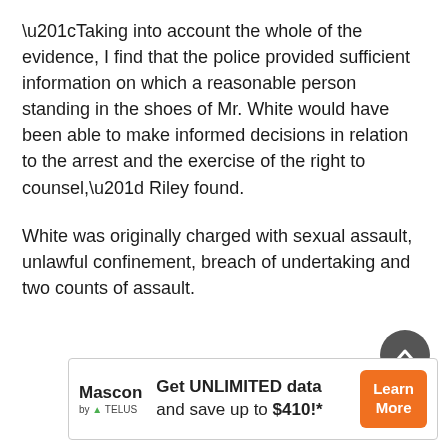“Taking into account the whole of the evidence, I find that the police provided sufficient information on which a reasonable person standing in the shoes of Mr. White would have been able to make informed decisions in relation to the arrest and the exercise of the right to counsel,” Riley found.
White was originally charged with sexual assault, unlawful confinement, breach of undertaking and two counts of assault.
[Figure (other): Mascon by TELUS advertisement banner: Get UNLIMITED data and save up to $410!* with Learn More button]